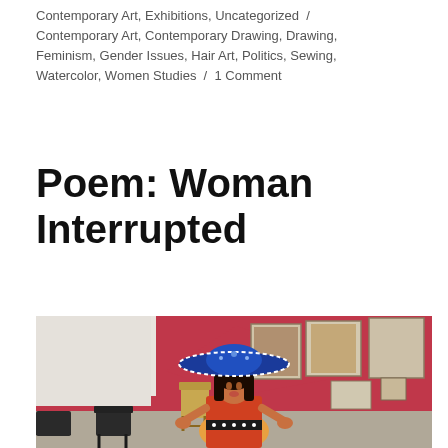Contemporary Art, Exhibitions, Uncategorized / Contemporary Art, Contemporary Drawing, Drawing, Feminism, Gender Issues, Hair Art, Politics, Sewing, Watercolor, Women Studies / 1 Comment
Poem: Woman Interrupted
[Figure (photo): A woman wearing a large blue sombrero and a colorful dress stands with hands on hips in an art gallery. Behind her are artworks hung on a red wall, a wooden chair, and black chairs. The gallery setting features various portrait paintings.]